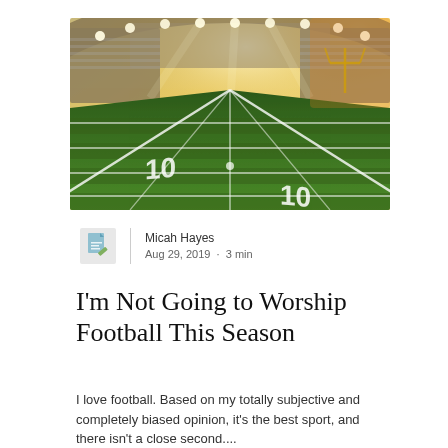[Figure (photo): Aerial view of an American football field from the end zone, showing yard lines and a packed stadium with bright lights and a golden sunset glow in the background.]
Micah Hayes
Aug 29, 2019 · 3 min
I'm Not Going to Worship Football This Season
I love football. Based on my totally subjective and completely biased opinion, it's the best sport, and there isn't a close second....